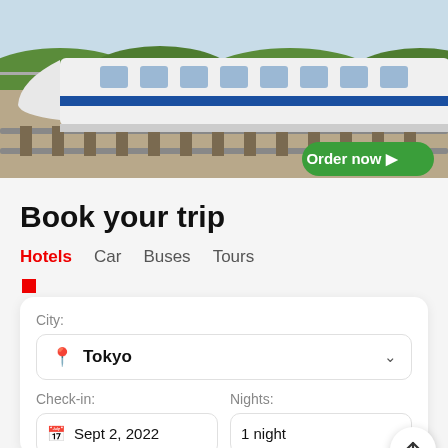[Figure (photo): Photo of a white Japanese high-speed bullet train (Shinkansen) with blue stripe, with a green 'Order now' button overlaid in the bottom right corner]
Book your trip
Hotels   Car   Buses   Tours
City: Tokyo
Check-in: Sept 2, 2022
Nights: 1 night